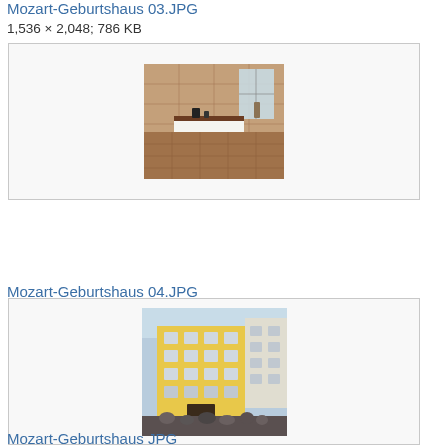Mozart-Geburtshaus 03.JPG
1,536 × 2,048; 786 KB
[Figure (photo): Interior room of Mozart Geburtshaus showing a stone or wooden platform/table with objects on it, tiled floor, window in background]
Mozart-Geburtshaus 04.JPG
1,754 × 1,151; 369 KB
[Figure (photo): Exterior view of Mozart Geburtshaus building in Salzburg, yellow facade, multiple floors with windows, crowd of people at the base]
Mozart-Geburtshaus JPG